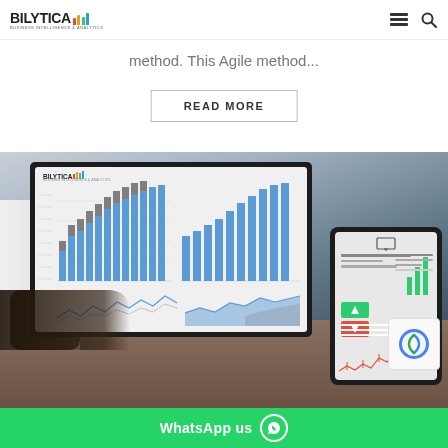BILYTICA Business Intelligence & Analytics — navigation header with hamburger menu and search icon
method. This Agile method...
READ MORE
[Figure (photo): Business professional working at desk with monitor displaying Bilytica dashboard with bar charts and line charts, alongside a tablet/smartphone showing additional charts and graphs. WhatsApp us button visible at the bottom.]
WhatsApp us